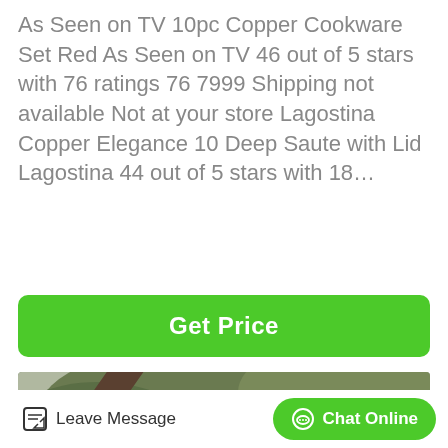As Seen on TV 10pc Copper Cookware Set Red As Seen on TV 46 out of 5 stars with 76 ratings 76 7999 Shipping not available Not at your store Lagostina Copper Elegance 10 Deep Saute with Lid Lagostina 44 out of 5 stars with 18…
[Figure (other): Green button labeled Get Price]
[Figure (photo): Outdoor photo of a flatbed trailer loaded with wooden boards, metal pipes/rods, and assorted materials, with a tree branch visible and a large wheel on the right side]
[Figure (other): Bottom bar with Leave Message icon-button on the left and Chat Online green pill-button on the right]